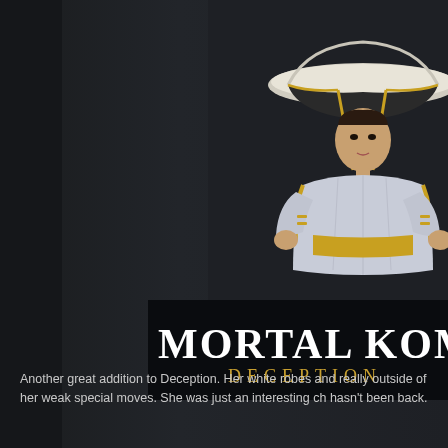[Figure (illustration): 3D rendered female character in white and gold robes wearing a large wide-brimmed hat, posed with hands on hips, from Mortal Kombat Deception video game]
[Figure (logo): Mortal Kombat Deception game logo - white stylized text on dark background with gold subtitle text]
Another great addition to Deception. Her white robes and really outside of her weak special moves. She was just an interesting ch hasn't been back.